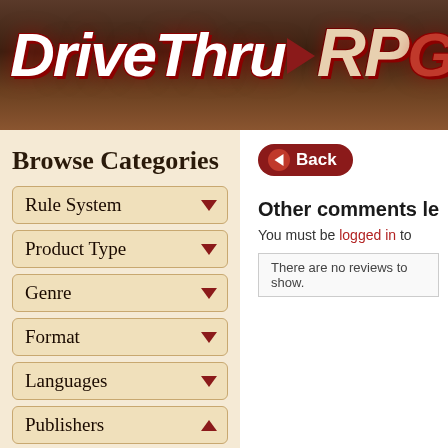[Figure (logo): DriveThruRPG website logo — stylized red and white italic text on dark textured brown background]
Browse Categories
Rule System
Product Type
Genre
Format
Languages
Publishers
Fajerhol Junior
Back
Other comments le
You must be logged in to
There are no reviews to show.